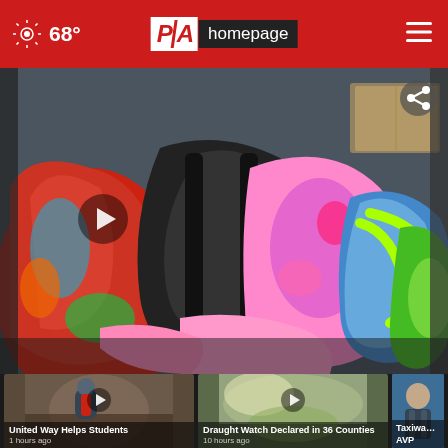68° PA homepage
[Figure (photo): Pile of colorful backpacks filling the back of a vehicle, viewed from the rear. Multiple backpacks in various colors (red, black, teal, green, pink) stacked together. A large play button triangle is visible at lower left.]
[Figure (photo): Thumbnail: United Way Helps Students - person with backpack, play button overlay, '1 hours ago']
[Figure (photo): Thumbnail: Draught Watch Declared in 36 Counties - outdoor scene with green foliage, play button overlay, '10 hours ago']
[Figure (photo): Thumbnail: Taxiway AVP - man in suit, partial view]